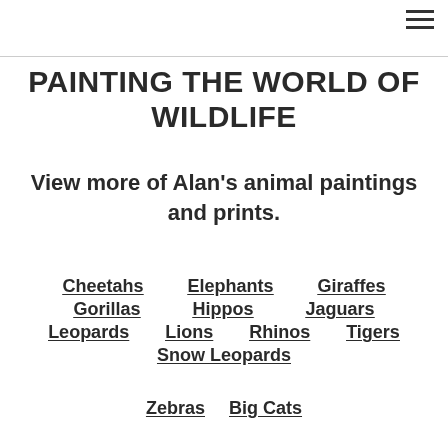≡
PAINTING THE WORLD OF WILDLIFE
View more of Alan's animal paintings and prints.
Cheetahs
Elephants
Giraffes
Gorillas
Hippos
Jaguars
Leopards
Lions
Rhinos
Tigers
Snow Leopards
Zebras
Big Cats